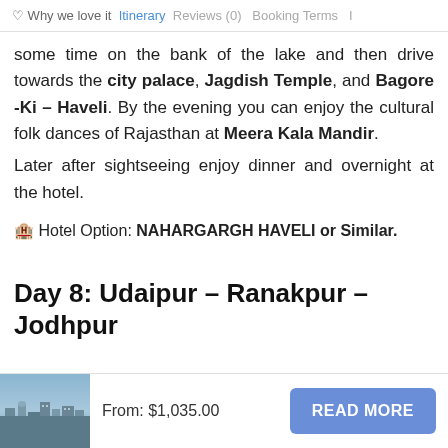♥ Why we love it  Itinerary  Reviews (0)  Booking Terms  I…
some time on the bank of the lake and then drive towards the city palace, Jagdish Temple, and Bagore -Ki – Haveli. By the evening you can enjoy the cultural folk dances of Rajasthan at Meera Kala Mandir. Later after sightseeing enjoy dinner and overnight at the hotel.
🏨 Hotel Option: NAHARGARGH HAVELI or Similar.
Day 8: Udaipur – Ranakpur – Jodhpur
[Figure (photo): City landscape thumbnail photo]
From: $1,035.00
READ MORE